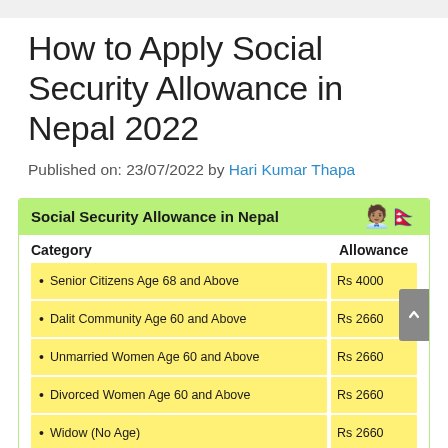How to Apply Social Security Allowance in Nepal 2022
Published on: 23/07/2022 by Hari Kumar Thapa
[Figure (infographic): Social Security Allowance in Nepal infographic table showing categories and allowances: Senior Citizens Age 68 and Above (Rs 4000), Dalit Community Age 60 and Above (Rs 2660), Unmarried Women Age 60 and Above (Rs 2660), Divorced Women Age 60 and Above (Rs 2660), Widow (No Age) (Rs 2660), A Category Disability (Rs 3990). Green header with bold title, yellow highlight on category and allowance cells, elderly couple illustration at bottom right.]